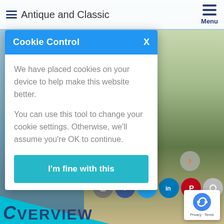≡ Antique and Classic   Menu
Cookie Control
We have placed cookies on your device to help make this website better.

You can use this tool to change your cookie settings. Otherwise, we'll assume you're OK to continue.
I'm fine with this
[Figure (screenshot): Boat photo visible on right side background — a classic wooden boat docked near trees with an American flag]
[Figure (logo): reCAPTCHA badge bottom right with privacy and terms text]
C VERVIEW